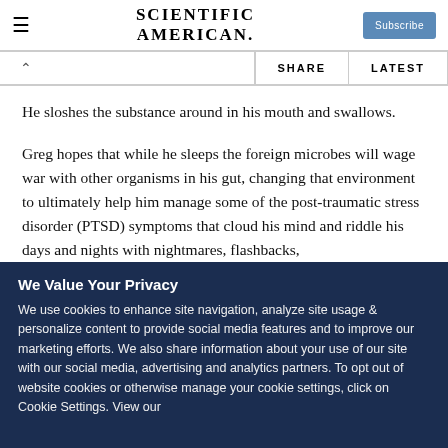Scientific American
SHARE   LATEST
He sloshes the substance around in his mouth and swallows.
Greg hopes that while he sleeps the foreign microbes will wage war with other organisms in his gut, changing that environment to ultimately help him manage some of the post-traumatic stress disorder (PTSD) symptoms that cloud his mind and riddle his days and nights with nightmares, flashbacks,
We Value Your Privacy
We use cookies to enhance site navigation, analyze site usage & personalize content to provide social media features and to improve our marketing efforts. We also share information about your use of our site with our social media, advertising and analytics partners. To opt out of website cookies or otherwise manage your cookie settings, click on Cookie Settings. View our